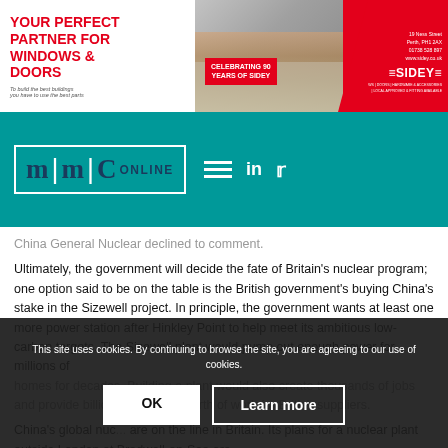[Figure (advertisement): Sidey windows and doors advertisement banner with red branding, house photo, and 'Celebrating 90 Years of Sidey' text]
[Figure (logo): MMC Online logo on teal navigation bar with hamburger menu, LinkedIn and Twitter icons]
China General Nuclear declined to comment.
Ultimately, the government will decide the fate of Britain's nuclear program; one option said to be on the table is the British government's buying China's stake in the Sizewell project. In principle, the government wants at least one more power station after Hinkley Point to help meet its ambitious low-carbon targets. The Sizewell plant would pump out enough power for millions of homes for decades. Building a plant would also create thousands of jobs and provide billions of pounds worth of work for British suppliers.
China's global nuc... are on the line in Britain. Its plans for a nuclear plant outside London at Bradwell-on-Sea are...
This site uses cookies. By continuing to browse the site, you are agreeing to our use of cookies.